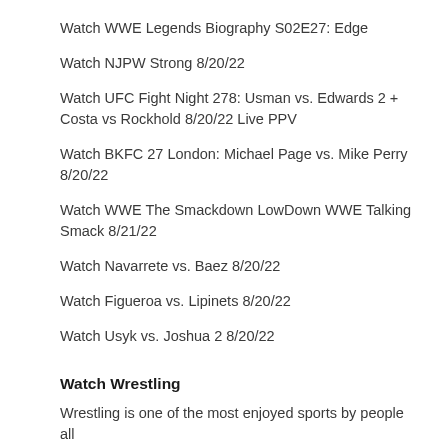Watch WWE Legends Biography S02E27: Edge
Watch NJPW Strong 8/20/22
Watch UFC Fight Night 278: Usman vs. Edwards 2 + Costa vs Rockhold 8/20/22 Live PPV
Watch BKFC 27 London: Michael Page vs. Mike Perry 8/20/22
Watch WWE The Smackdown LowDown WWE Talking Smack 8/21/22
Watch Navarrete vs. Baez 8/20/22
Watch Figueroa vs. Lipinets 8/20/22
Watch Usyk vs. Joshua 2 8/20/22
Watch Wrestling
Wrestling is one of the most enjoyed sports by people all